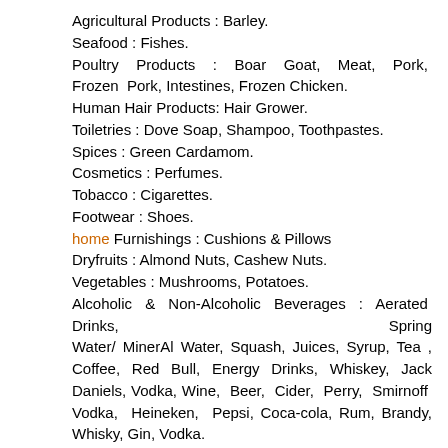Agricultural Products : Barley.
Seafood : Fishes.
Poultry Products : Boar Goat, Meat, Pork, Frozen Pork, Intestines, Frozen Chicken.
Human Hair Products: Hair Grower.
Toiletries : Dove Soap, Shampoo, Toothpastes.
Spices : Green Cardamom.
Cosmetics : Perfumes.
Tobacco : Cigarettes.
Footwear : Shoes.
home Furnishings : Cushions & Pillows
Dryfruits : Almond Nuts, Cashew Nuts.
Vegetables : Mushrooms, Potatoes.
Alcoholic & Non-Alcoholic Beverages : Aerated Drinks, Spring Water/ MinerAl Water, Squash, Juices, Syrup, Tea , Coffee, Red Bull, Energy Drinks, Whiskey, Jack Daniels, Vodka, Wine, Beer, Cider, Perry, Smirnoff Vodka, Heineken, Pepsi, Coca-cola, Rum, Brandy, Whisky, Gin, Vodka.
Edible Oils, Sunflower Oil, Olive Oil, Palms Oil Cbd Oil, Sunflower Oils.
Dairy Products : Powered Milk, Nestel, Chesse
Confectionary Items : Kinder Buenos, Nuttella Chocolate, Lollipops, Tim tam, Gummies, Raffaello, Heath Bar, Kisses,